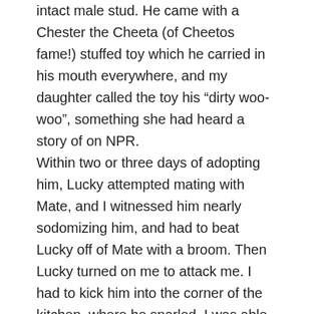intact male stud. He came with a Chester the Cheeta (of Cheetos fame!) stuffed toy which he carried in his mouth everywhere, and my daughter called the toy his “dirty woo-woo”, something she had heard a story of on NPR.
Within two or three days of adopting him, Lucky attempted mating with Mate, and I witnessed him nearly sodomizing him, and had to beat Lucky off of Mate with a broom. Then Lucky turned on me to attack me. I had to kick him into the corner of the kitchen, where he snarled. I was able to separate him, he calmed down, and I called the SPCA and made an appointment to have him neutered the next day. My daughter had taken Mate to their house for safety until this was done, and in a few days Mate was home and Lucky began to settle down nicely, and no more dominance issues arose.